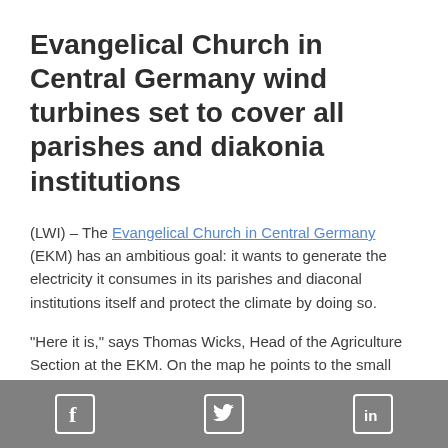Evangelical Church in Central Germany wind turbines set to cover all parishes and diakonia institutions
(LWI) – The Evangelical Church in Central Germany (EKM) has an ambitious goal: it wants to generate the electricity it consumes in its parishes and diaconal institutions itself and protect the climate by doing so.
"Here it is," says Thomas Wicks, Head of the Agriculture Section at the EKM. On the map he points to the small town of Olbersleben in the middle of Thuringia province,
[Figure (infographic): Footer bar with Facebook, Twitter, and LinkedIn social media icons in white on a grey background]